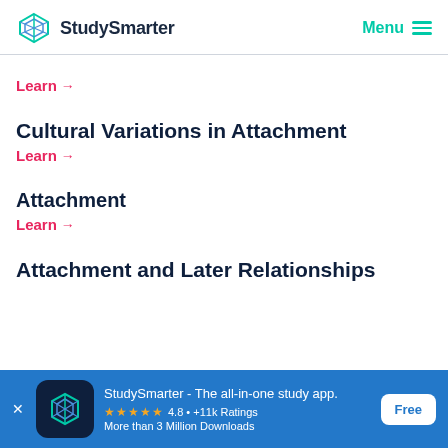StudySmarter   Menu
Learn →
Cultural Variations in Attachment
Learn →
Attachment
Learn →
Attachment and Later Relationships
[Figure (screenshot): StudySmarter app banner advertisement with app icon, star rating 4.8 with +11k Ratings, More than 3 Million Downloads, and a Free button]